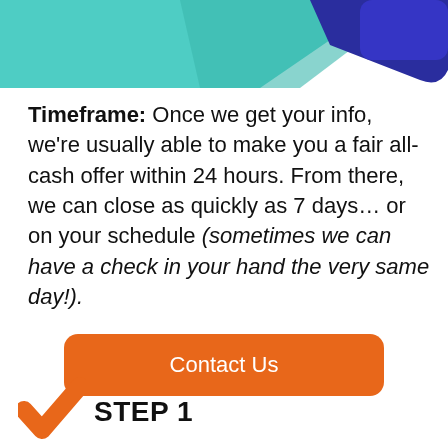[Figure (illustration): Partial top of page showing decorative cards or banners in teal/green and dark blue colors, cropped at the top edge.]
Timeframe: Once we get your info, we're usually able to make you a fair all-cash offer within 24 hours. From there, we can close as quickly as 7 days… or on your schedule (sometimes we can have a check in your hand the very same day!).
[Figure (other): Orange rounded rectangle button labeled 'Contact Us']
[Figure (illustration): Orange checkmark icon partially visible at the bottom left, next to the text STEP 1]
STEP 1